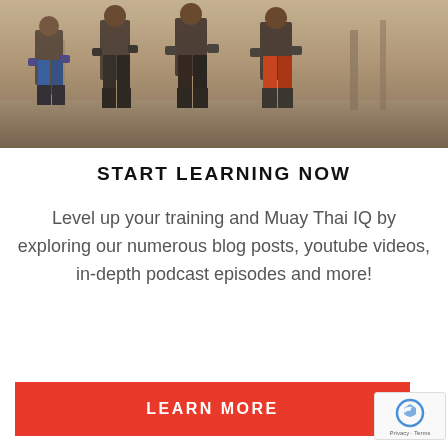[Figure (photo): Group of Muay Thai fighters standing together outdoors, shirtless, wearing boxing shorts and shin guards]
START LEARNING NOW
Level up your training and Muay Thai IQ by exploring our numerous blog posts, youtube videos, in-depth podcast episodes and more!
LEARN MORE